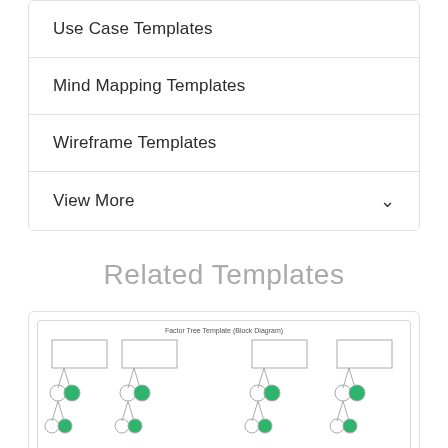Use Case Templates
Mind Mapping Templates
Wireframe Templates
View More
Related Templates
[Figure (other): Factor Tree Template (Block Diagram) showing a tree diagram with rectangles at the top connected to pairs of circles below, some circles filled with green, arranged in a 4-column layout]